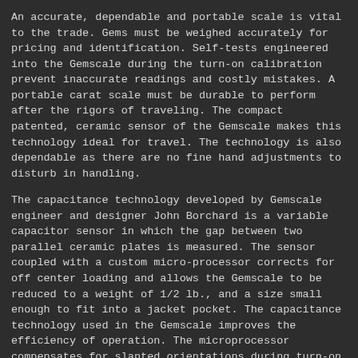An accurate, dependable and portable scale is vital to the trade. Gems must be weighed accurately for pricing and identification. Self-tests engineered into the Gemscale during the turn-on calibration prevent inaccurate readings and costly mistakes. A portable carat scale must be durable to perform after the rigors of traveling. The compact patented, ceramic sensor of the Gemscale makes this technology ideal for travel. The technology is also dependable as there are no fine hand adjustments to disturb in handling.
The capacitance technology developed by Gemscale engineer and designer John Borchard is a variable capacitor sensor in which the gap between two parallel ceramic plates is measured. The sensor coupled with a custom micro-processor corrects for off center loading and allows the Gemscale to be reduced to a weight of 1/2 lb., and a size small enough to fit into a jacket pocket. The capacitance technology used in the Gemscale improves the efficiency of operation. The microprocessor compensates for slanted orientations during turn-on calibration and this eliminates time consuming foot leveling necessary for accurate calibrations and readings for Strain Gauge scales.
The patented draught shield of sturdy polycarbonate is coated to the hardness of glass to resist scratches. It is then then sputtered with Indium Tin Oxide to prevent static charges from disrupting readings. This patented draught shield design acts as the scale's carrying case. As a case, the draught shield secures the calibration weight and weighing pan in the contoured body of the scale. This self-contained design precludes lost parts.
The Gemscale is powered by a 9 volt battery for 200 operating hours. An AC adapter is unnecessary with this technology. Nearly all analog circuitry